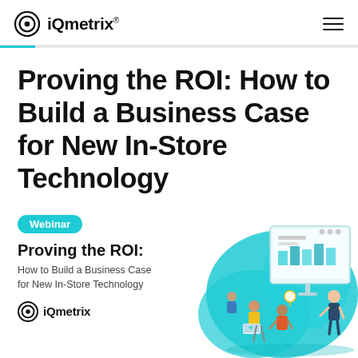iQmetrix®
Proving the ROI: How to Build a Business Case for New In-Store Technology
[Figure (illustration): Webinar promotional card with teal badge labeled 'Webinar', bold title 'Proving the ROI:', subtitle 'How to Build a Business Case for New In-Store Technology', iQmetrix logo, and an isometric illustration of people in a meeting with a large screen showing charts, set against a teal blob background.]